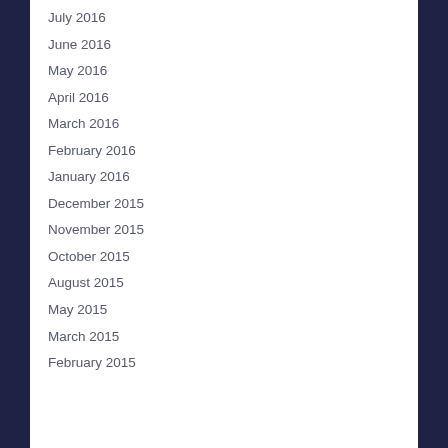July 2016
June 2016
May 2016
April 2016
March 2016
February 2016
January 2016
December 2015
November 2015
October 2015
August 2015
May 2015
March 2015
February 2015